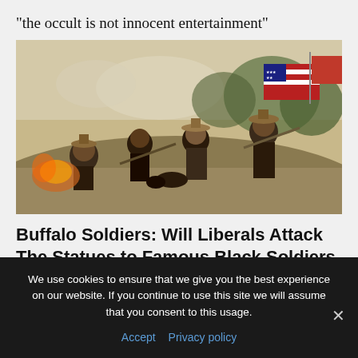"the occult is not innocent entertainment"
[Figure (illustration): Historical painting depicting Buffalo Soldiers in battle, carrying an American flag, with soldiers fighting on a hillside.]
Buffalo Soldiers: Will Liberals Attack The Statues to Famous Black Soldiers Who Killed
We use cookies to ensure that we give you the best experience on our website. If you continue to use this site we will assume that you consent to this usage.
Accept  Privacy policy